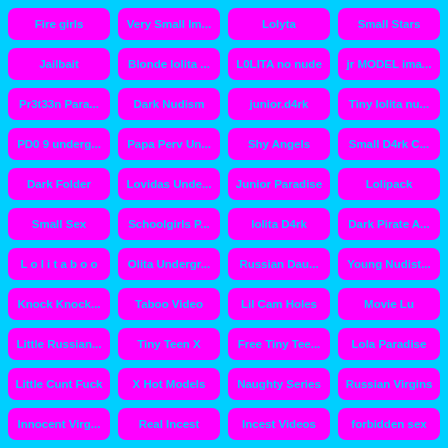Fire girls
Very Small Im...
Lolyta
Small Stars
Jailbait
Blonde lolita ...
L0LITA no nude
jr MODEL ima...
Pr3t33n Para...
Dark Nudism
junior.d4rk
Tiny lolita nu...
PD0 9 underg...
Papa Perv Un...
Shy Angels
Small D4rk C...
Dark Folder
Lovidas Unde...
Junior Paradise
Lolipack
Small Sex
Schoolgirls P...
lolita D4rk
Dark Pirate A...
L o l i t a b o o
Olita Undergr...
Russian Dau...
Young Nudist...
Knock Knock...
Taboo Video
Lil Cam Holes
Movie Lu
Little Russian...
Tiny Teen X
Free Tiny Tee...
Lola Paradise
Little Cunt Fuck
X Hot Models
Naughty Series
Russian Virgins
Innocent Virg...
Real Incest
Incest Videos
forbidden sex